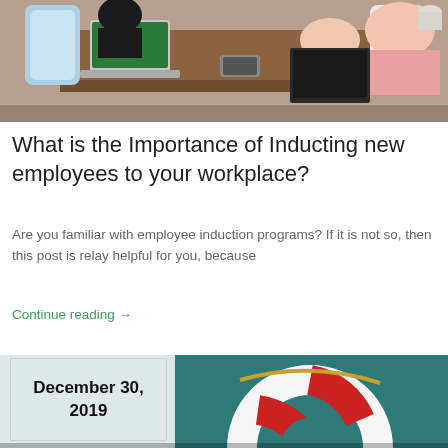[Figure (photo): Overhead view of people working at a table with laptops and notebooks in an office setting]
What is the Importance of Inducting new employees to your workplace?
Are you familiar with employee induction programs? If it is not so, then this post is relay helpful for you, because
Continue reading →
[Figure (illustration): Partial view of a life preserver ring illustration on a teal background, with a date label box showing December 30, 2019]